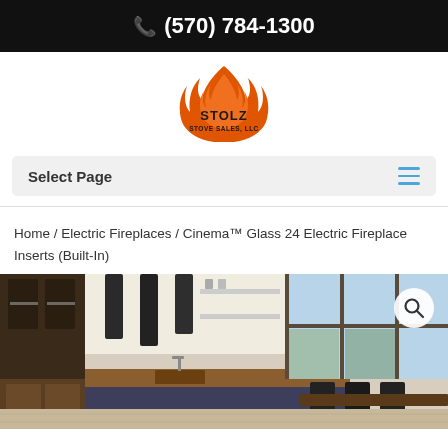(570) 784-1300
[Figure (logo): Stolz Stove Sales LLC logo — orange flame with STOLZ text]
Select Page
Home / Electric Fireplaces / Cinema™ Glass 24 Electric Fireplace Inserts (Built-In)
[Figure (photo): Modern kitchen interior with wood cabinetry, island with sink, pendant lights, and large windows]